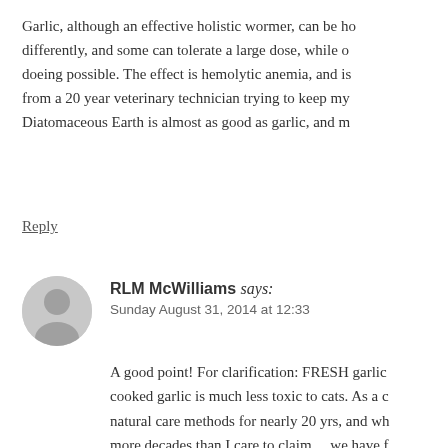Garlic, although an effective holistic wormer, can be ho differently, and some can tolerate a large dose, while o doeing possible. The effect is hemolytic anemia, and is from a 20 year veterinary technician trying to keep my Diatomaceous Earth is almost as good as garlic, and m
Reply
RLM McWilliams says: Sunday August 31, 2014 at 12:33
A good point! For clarification: FRESH garlic cooked garlic is much less toxic to cats. As a c natural care methods for nearly 20 yrs, and wh more decades than I care to claim… we have f useful and effective. That said, is is not somet amounts, usually 1-3 days at most, always erri you point out, some cats are more sensitive to commercial anthelmintics (dewormers) are to